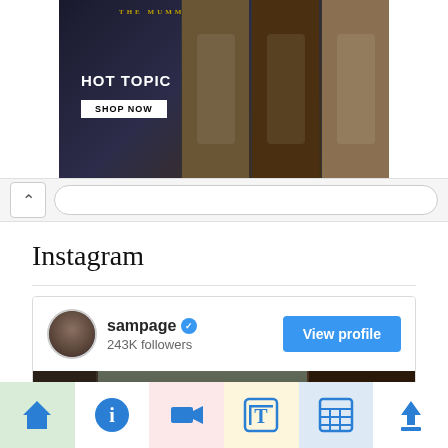[Figure (photo): Advertisement banner for The Mummy / Hot Topic with 'SHOP NOW' button and figures in dark background]
[Figure (screenshot): Browser address bar with chevron up icon and URL bar]
Instagram
[Figure (screenshot): Instagram profile card for sampage with verified checkmark, 243K followers, View profile button, and a selfie photo of a man in a suit taking a mirror selfie]
[Figure (infographic): Bottom navigation bar with home, info, video camera, text/font, newspaper/grid, and upload icons in colored tiles]